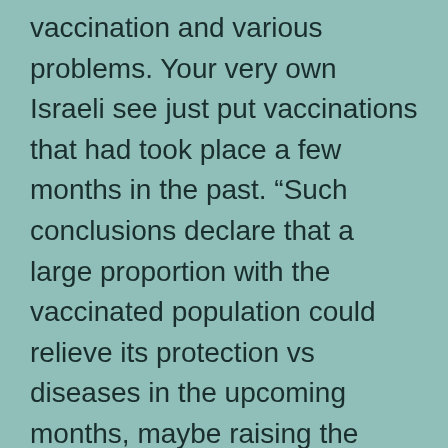vaccination and various problems. Your very own Israeli see just put vaccinations that had took place a few months in the past. “Such conclusions declare that a large proportion with the vaccinated population could relieve its protection vs diseases in the upcoming months, maybe raising the prospect of fresh pandemic waves,” they wrote. “Your sang that one promising longitudinal cohort study of health care employees inside the Sheba Medical center, a giant tertiary medical in the Israel,” Sheba’s Dr. Gili Regev-Yochay in order to contacts had written. “Meeting herd resistance right the way through natural